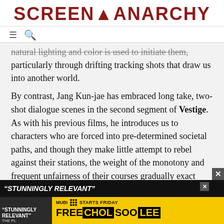SCREEN ANARCHY
natural lighting and color is used to initiate them, particularly through drifting tracking shots that draw us into another world.
By contrast, Jang Kun-jae has embraced long take, two-shot dialogue scenes in the second segment of Vestige. As with his previous films, he introduces us to characters who are forced into pre-determined societal paths, and though they make little attempt to rebel against their stations, the weight of the monotony and frequent unfairness of their courses gradually exact their toll.
[Figure (screenshot): Advertisement banner for Free Chol Soo Lee on MUBI, with yellow background and text 'STUNNINGLY RELEVANT - THE PLAYLIST', 'FREE CHOL SOO LEE', 'MUBI STARTS FRIDAY']